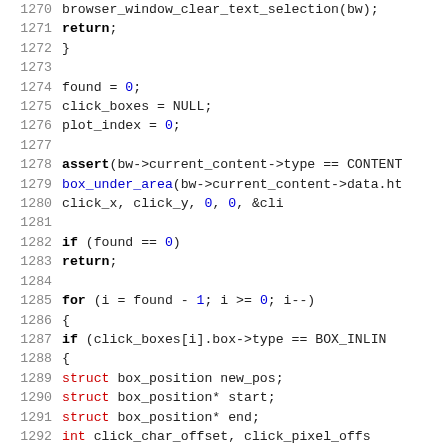Source code listing, lines 1270-1299, C programming language